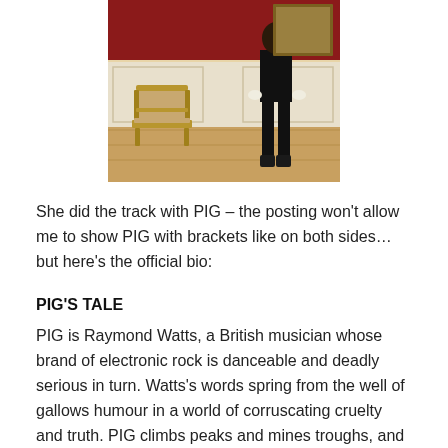[Figure (photo): A person dressed in black standing in an ornate room with a gilded chair, parquet floor and decorated walls.]
She did the track with PIG – the posting won't allow me to show PIG with brackets like on both sides…but here's the official bio:
PIG'S TALE
PIG is Raymond Watts, a British musician whose brand of electronic rock is danceable and deadly serious in turn. Watts's words spring from the well of gallows humour in a world of corruscating cruelty and truth. PIG climbs peaks and mines troughs, and musical genres slide and collide